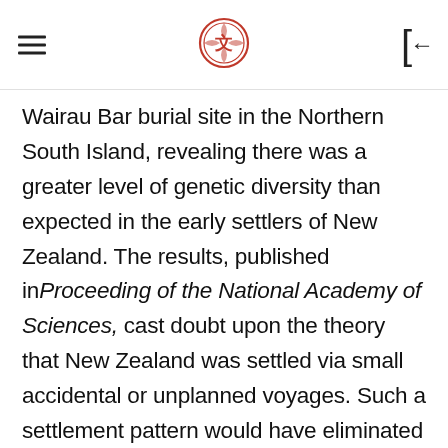[hamburger menu] [logo] [back button]
Wairau Bar burial site in the Northern South Island, revealing there was a greater level of genetic diversity than expected in the early settlers of New Zealand. The results, published in Proceeding of the National Academy of Sciences, cast doubt upon the theory that New Zealand was settled via small accidental or unplanned voyages. Such a settlement pattern would have eliminated much genetic diversity, the researchers said. New Zealand is believed to be the last major landmass to be permanently settled by humans.